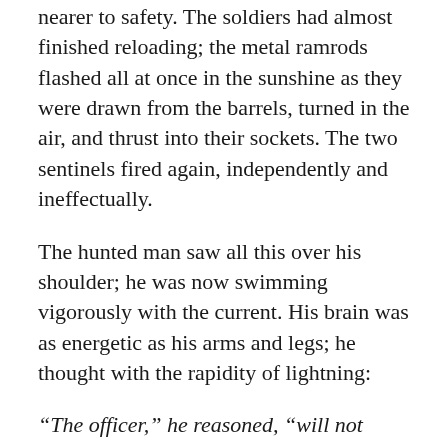nearer to safety. The soldiers had almost finished reloading; the metal ramrods flashed all at once in the sunshine as they were drawn from the barrels, turned in the air, and thrust into their sockets. The two sentinels fired again, independently and ineffectually.
The hunted man saw all this over his shoulder; he was now swimming vigorously with the current. His brain was as energetic as his arms and legs; he thought with the rapidity of lightning:
“The officer,” he reasoned, “will not make that martinet’s error a second time. It is as easy to dodge a volley as a single shot. He has probably already given the command to fire at will. God help me, I